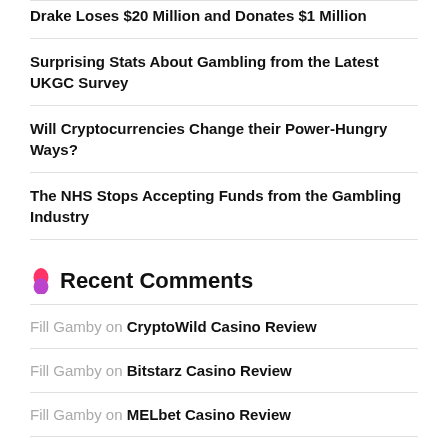Drake Loses $20 Million and Donates $1 Million
Surprising Stats About Gambling from the Latest UKGC Survey
Will Cryptocurrencies Change their Power-Hungry Ways?
The NHS Stops Accepting Funds from the Gambling Industry
Recent Comments
Fill Gamby on CryptoWild Casino Review
Fill Gamby on Bitstarz Casino Review
Fill Gamby on MELbet Casino Review
Fill Gamby on MELbet Casino Review